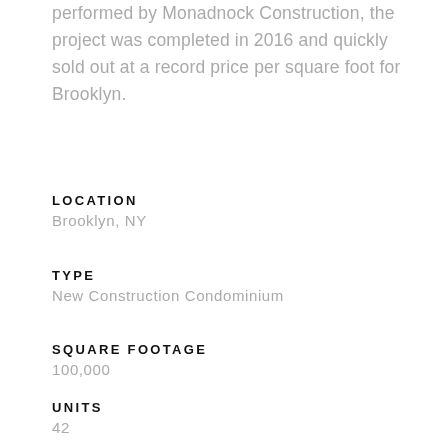performed by Monadnock Construction, the project was completed in 2016 and quickly sold out at a record price per square foot for Brooklyn.
LOCATION
Brooklyn, NY
TYPE
New Construction Condominium
SQUARE FOOTAGE
100,000
UNITS
42